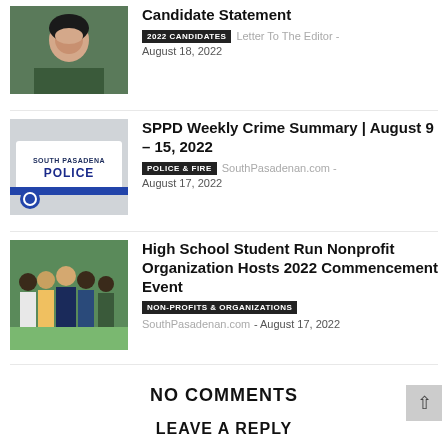[Figure (photo): Headshot of a woman with dark hair, smiling, outdoors]
Candidate Statement
2022 CANDIDATES  Letter To The Editor - August 18, 2022
[Figure (photo): South Pasadena Police car door with SOUTH PASADENA POLICE text and badge]
SPPD Weekly Crime Summary | August 9 – 15, 2022
POLICE & FIRE  SouthPasadenan.com - August 17, 2022
[Figure (photo): Group of five students/young people standing outdoors in front of greenery]
High School Student Run Nonprofit Organization Hosts 2022 Commencement Event
NON-PROFITS & ORGANIZATIONS  SouthPasadenan.com - August 17, 2022
NO COMMENTS
LEAVE A REPLY